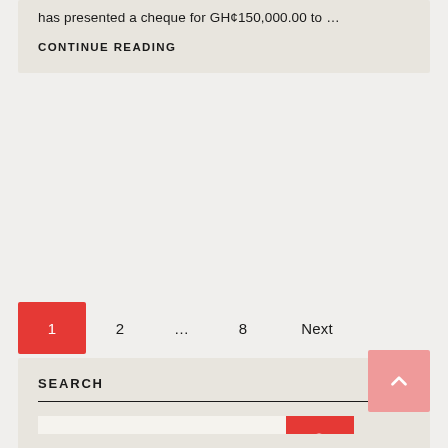has presented a cheque for GH¢150,000.00 to …
CONTINUE READING
1  2  ...  8  Next
SEARCH
Search